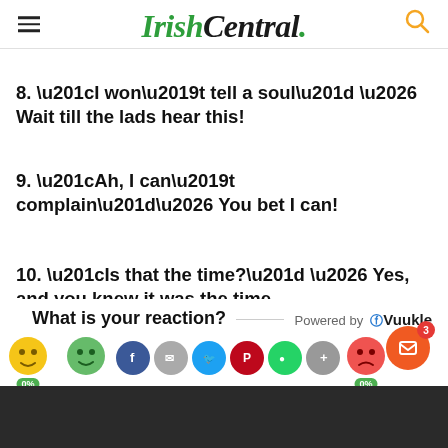IrishCentral.
8. “I won’t tell a soul” … Wait till the lads hear this!
9. “Ah, I can’t complain”… You bet I can!
10. “Is that the time?” … Yes, and you knew it was the time.
What is your reaction?  Powered by Vuukle